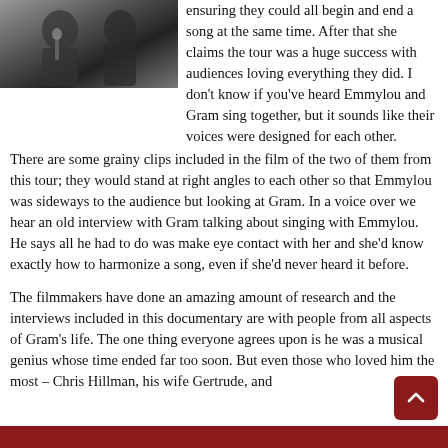[Figure (photo): Black and white photograph of two people, likely musicians, partially visible at top left of page.]
ensuring they could all begin and end a song at the same time. After that she claims the tour was a huge success with audiences loving everything they did. I don't know if you've heard Emmylou and Gram sing together, but it sounds like their voices were designed for each other.
There are some grainy clips included in the film of the two of them from this tour; they would stand at right angles to each other so that Emmylou was sideways to the audience but looking at Gram. In a voice over we hear an old interview with Gram talking about singing with Emmylou. He says all he had to do was make eye contact with her and she'd know exactly how to harmonize a song, even if she'd never heard it before.
The filmmakers have done an amazing amount of research and the interviews included in this documentary are with people from all aspects of Gram's life. The one thing everyone agrees upon is he was a musical genius whose time ended far too soon. But even those who loved him the most – Chris Hillman, his wife Gertrude, and